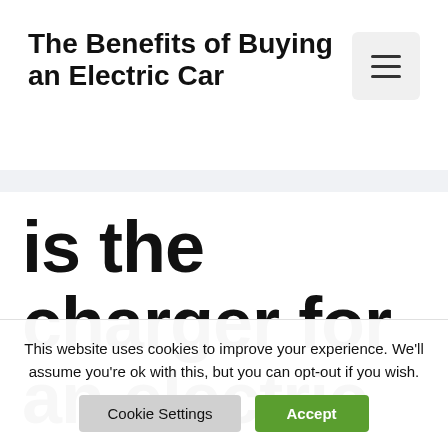The Benefits of Buying an Electric Car
[Figure (other): Hamburger menu button icon with three horizontal lines]
is the charger for an electric car deductible
This website uses cookies to improve your experience. We'll assume you're ok with this, but you can opt-out if you wish.
Cookie Settings | Accept